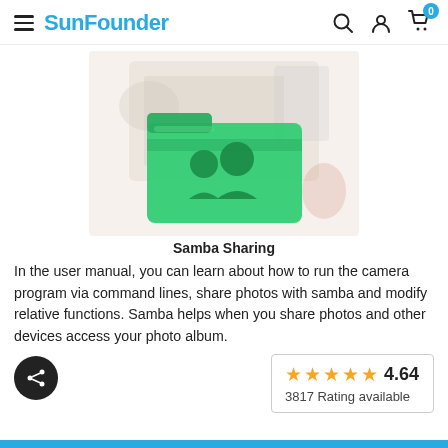SunFounder
[Figure (illustration): Green folder icon with a people/user silhouette, overlaid on a faded photo of a laptop and desk setup]
Samba Sharing
In the user manual, you can learn about how to run the camera program via command lines, share photos with samba and modify relative functions. Samba helps when you share photos and other devices access your photo album.
[Figure (infographic): Rating box showing 4.64 stars out of 5, with 3817 Rating available]